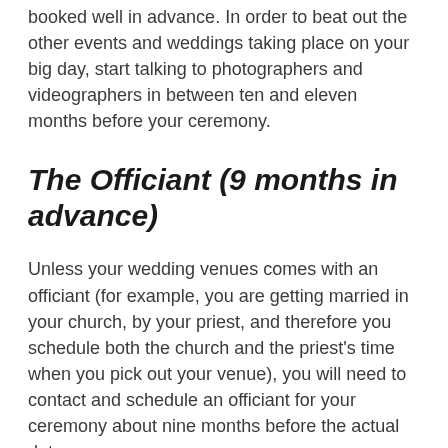booked well in advance. In order to beat out the other events and weddings taking place on your big day, start talking to photographers and videographers in between ten and eleven months before your ceremony.
The Officiant (9 months in advance)
Unless your wedding venues comes with an officiant (for example, you are getting married in your church, by your priest, and therefore you schedule both the church and the priest's time when you pick out your venue), you will need to contact and schedule an officiant for your ceremony about nine months before the actual date.
If you're not sure what kind of officiant you need, don't be afraid to ask your wedding planner. She can help you find the right person based on the type of ceremony you are